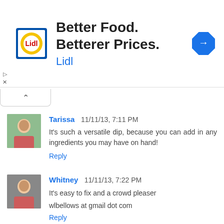[Figure (other): Lidl advertisement banner: Lidl logo on left, text 'Better Food. Betterer Prices.' with 'Lidl' subtitle in blue, navigation arrow icon on right]
[Figure (other): Collapse/minimize tab with upward chevron (^)]
[Figure (other): User avatar for Tarissa - small profile photo of a woman]
Tarissa 11/11/13, 7:11 PM
It's such a versatile dip, because you can add in any ingredients you may have on hand!
Reply
[Figure (other): User avatar for Whitney - small profile photo of a woman]
Whitney 11/11/13, 7:22 PM
It's easy to fix and a crowd pleaser

wlbellows at gmail dot com
Reply
[Figure (other): User avatar for Whitney - small profile photo of a woman (partially visible)]
Whitney 11/11/13, 7:23 PM (partially visible)